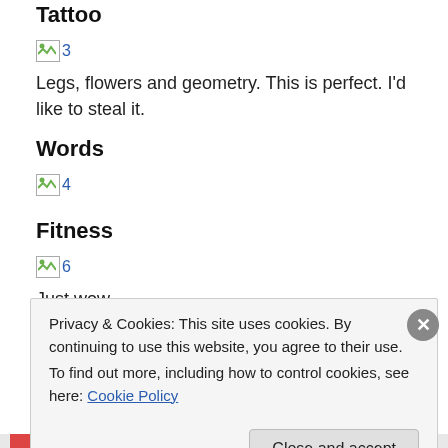Tattoo
[Figure (photo): Broken image placeholder with number 3]
Legs, flowers and geometry. This is perfect. I'd like to steal it.
Words
[Figure (photo): Broken image placeholder with number 4]
Fitness
[Figure (photo): Broken image placeholder with number 6]
Just wow.
Privacy & Cookies: This site uses cookies. By continuing to use this website, you agree to their use.
To find out more, including how to control cookies, see here: Cookie Policy